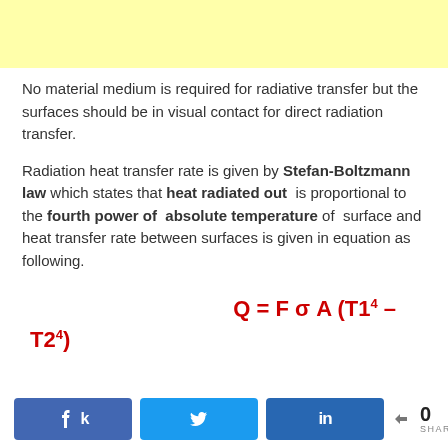[Figure (other): Yellow banner/advertisement area at top of page]
No material medium is required for radiative transfer but the surfaces should be in visual contact for direct radiation transfer.
Radiation heat transfer rate is given by Stefan-Boltzmann law which states that heat radiated out is proportional to the fourth power of absolute temperature of surface and heat transfer rate between surfaces is given in equation as following.